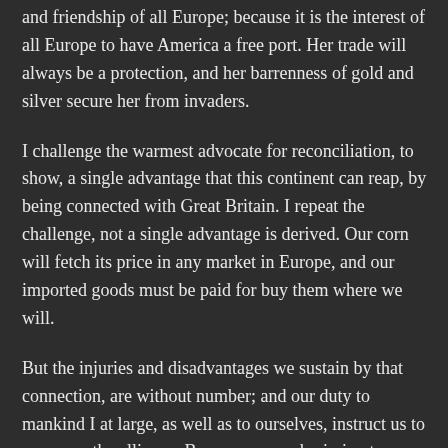and friendship of all Europe; because it is the interest of all Europe to have America a free port. Her trade will always be a protection, and her barrenness of gold and silver secure her from invaders.
I challenge the warmest advocate for reconciliation, to show, a single advantage that this continent can reap, by being connected with Great Britain. I repeat the challenge, not a single advantage is derived. Our corn will fetch its price in any market in Europe, and our imported goods must be paid for buy them where we will.
But the injuries and disadvantages we sustain by that connection, are without number; and our duty to mankind I at large, as well as to ourselves, instruct us to renounce the alliance: Because, any submission to, or dependence on Great Britain, tends directly to involve this continent in European wars and quarrels; and sets us at variance with nations, who would otherwise seek our friendship, and against whom, we have neither anger nor complaint. As Europe is our market for trade, we ought to form no partial connection with any part of it. It is the true interest of America to steer clear of European contentions, which she never can do, while by her dependance on Britain, she is made the